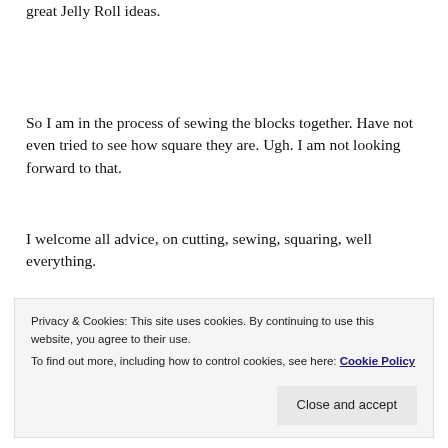great Jelly Roll ideas.
So I am in the process of sewing the blocks together. Have not even tried to see how square they are. Ugh. I am not looking forward to that.
I welcome all advice, on cutting, sewing, squaring, well everything.
[Figure (screenshot): Screenshot of a webpage with dark navy background and white bold text reading 'we all have them!' with a pink button and a circular element partially visible]
Privacy & Cookies: This site uses cookies. By continuing to use this website, you agree to their use.
To find out more, including how to control cookies, see here: Cookie Policy
Close and accept